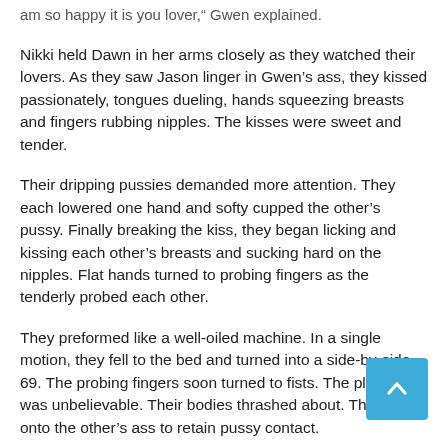am so happy it is you lover," Gwen explained.
Nikki held Dawn in her arms closely as they watched their lovers. As they saw Jason linger in Gwen's ass, they kissed passionately, tongues dueling, hands squeezing breasts and fingers rubbing nipples. The kisses were sweet and tender.
Their dripping pussies demanded more attention. They each lowered one hand and softy cupped the other's pussy. Finally breaking the kiss, they began licking and kissing each other's breasts and sucking hard on the nipples. Flat hands turned to probing fingers as the tenderly probed each other.
They preformed like a well-oiled machine. In a single motion, they fell to the bed and turned into a side-by-side 69. The probing fingers soon turned to fists. The pleasure was unbelievable. Their bodies thrashed about. They held onto the other's ass to retain pussy contact.
A tremendous volume of ejaculate grew, begging for release. The